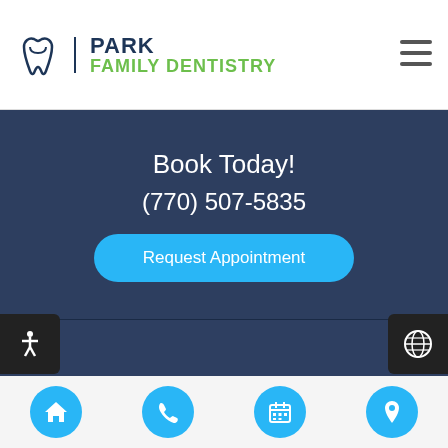Park Family Dentistry
Book Today!
(770) 507-5835
Request Appointment
Comments or Suggestions?
Contact Us